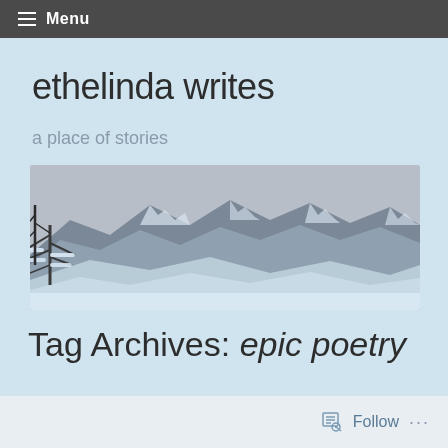Menu
ethelinda writes
a place of stories
[Figure (photo): A snowy winter mountain landscape with snow-covered trees in the foreground and mountains in the background under a grey sky.]
Tag Archives: epic poetry
Follow ...